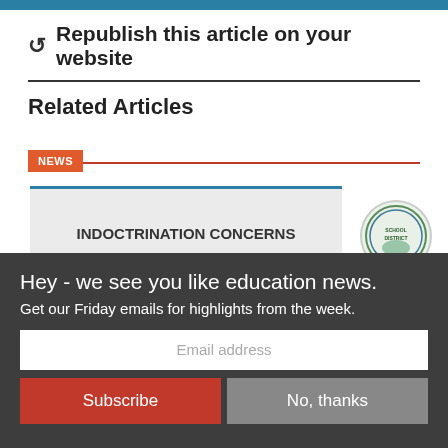Republish this article on your website
Related Articles
NEWS
[Figure (screenshot): Article preview thumbnail showing 'INDOCTRINATION CONCERNS' headline with a school district logo on the right]
Hey - we see you like education news. Get our Friday emails for highlights from the week.
Email address
Subscribe
No, thanks